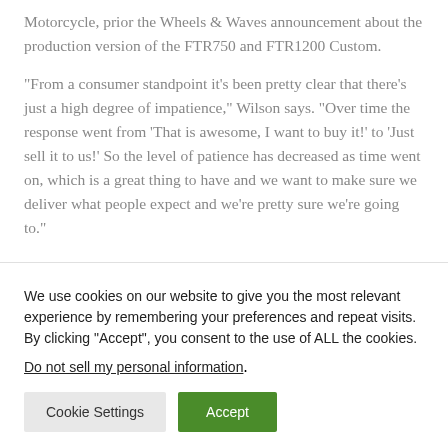Motorcycle, prior the Wheels & Waves announcement about the production version of the FTR750 and FTR1200 Custom.

“From a consumer standpoint it’s been pretty clear that there’s just a high degree of impatience,” Wilson says. “Over time the response went from ‘That is awesome, I want to buy it!’ to ‘Just sell it to us!’ So the level of patience has decreased as time went on, which is a great thing to have and we want to make sure we deliver what people expect and we’re pretty sure we’re going to.”
We use cookies on our website to give you the most relevant experience by remembering your preferences and repeat visits. By clicking “Accept”, you consent to the use of ALL the cookies.
Do not sell my personal information.